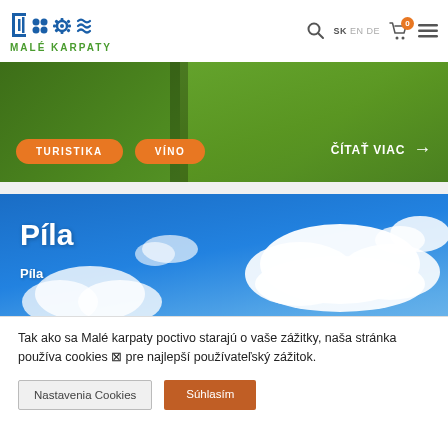MALÉ KARPATY — SK EN DE — cart 0 — menu
[Figure (screenshot): Green landscape banner with two orange pill buttons labeled TURISTIKA and VÍNO, and a white ČÍTAŤ VIAC → call-to-action on the right]
[Figure (photo): Blue sky with white clouds landscape photo, with white text overlay: Píla (large heading) and Píla (subtitle)]
Tak ako sa Malé karpaty poctivo starajú o vaše zážitky, naša stránka používa cookies ⊠ pre najlepší používateľský zážitok.
Nastavenia Cookies
Súhlasím